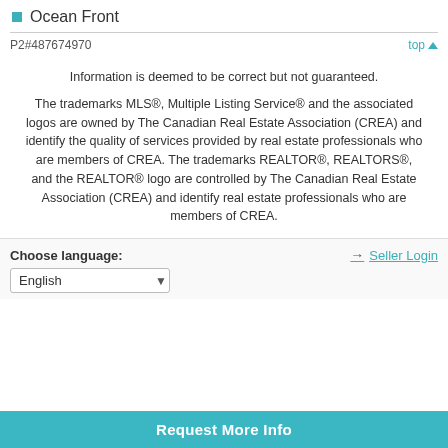Ocean Front
P2#487674970
Information is deemed to be correct but not guaranteed.
The trademarks MLS®, Multiple Listing Service® and the associated logos are owned by The Canadian Real Estate Association (CREA) and identify the quality of services provided by real estate professionals who are members of CREA. The trademarks REALTOR®, REALTORS®, and the REALTOR® logo are controlled by The Canadian Real Estate Association (CREA) and identify real estate professionals who are members of CREA.
Choose language:
Seller Login
English
Request More Info